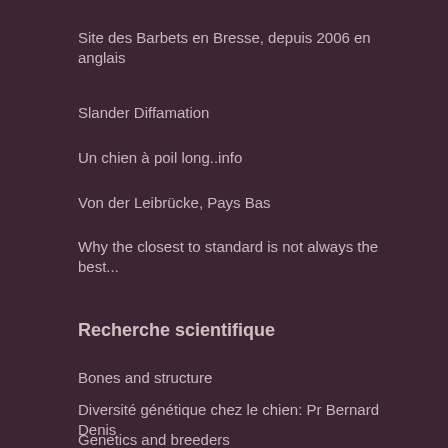Site des Barbets en Bresse, depuis 2006 en anglais
Slander Diffamation
Un chien à poil long..info
Von der Leibrücke, Pays Bas
Why the closest to standard is not always the best...
Recherche scientifique
Bones and structure
Diversité génétique chez le chien: Pr Bernard Denis
Genetics and breeders